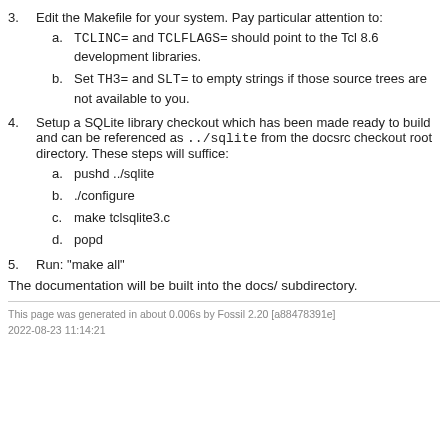3. Edit the Makefile for your system. Pay particular attention to:
a. TCLINC= and TCLFLAGS= should point to the Tcl 8.6 development libraries.
b. Set TH3= and SLT= to empty strings if those source trees are not available to you.
4. Setup a SQLite library checkout which has been made ready to build and can be referenced as ../sqlite from the docsrc checkout root directory. These steps will suffice:
a. pushd ../sqlite
b. ./configure
c. make tclsqlite3.c
d. popd
5. Run: "make all"
The documentation will be built into the docs/ subdirectory.
This page was generated in about 0.006s by Fossil 2.20 [a88478391e] 2022-08-23 11:14:21